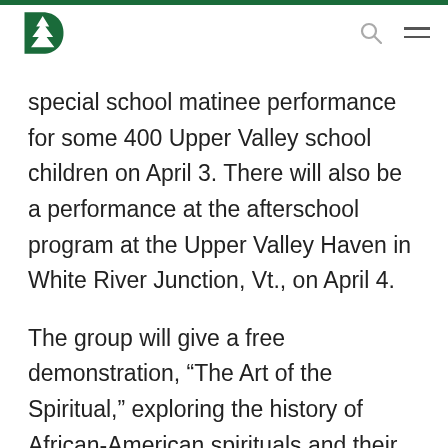Dartmouth College header with logo
special school matinee performance for some 400 Upper Valley school children on April 3. There will also be a performance at the afterschool program at the Upper Valley Haven in White River Junction, Vt., on April 4.
The group will give a free demonstration, “The Art of the Spiritual,” exploring the history of African-American spirituals and their effect on other musical genres.